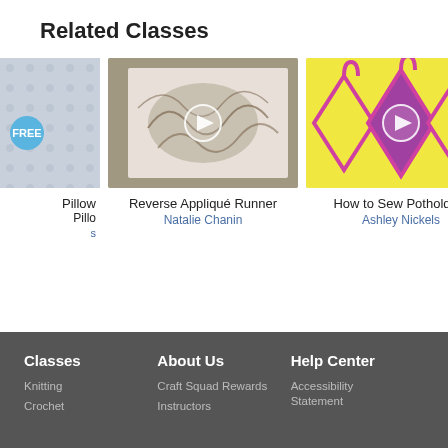Related Classes
[Figure (photo): Partially visible card with FREE badge showing a pillow class]
[Figure (photo): Reverse Appliqué Runner class thumbnail showing black and white fabric on a wooden table]
Reverse Appliqué Runner
Natalie Chanin
[Figure (photo): How to Sew Potholders class thumbnail showing yellow and pink potholders]
How to Sew Potholders
Ashley Nickels
[Figure (photo): Sew a Re... class thumbnail partially visible showing wooden shelf]
Sew a Re
M
Classes  Knitting  Crochet  About Us  Craft Squad Rewards  Instructors  Help Center  Accessibility Statement